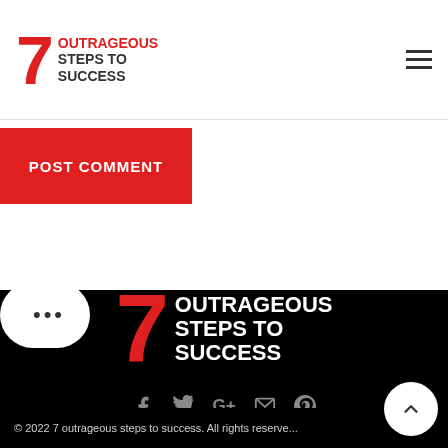7 outrageous steps to success
POST COMMENT
[Figure (logo): 7 outrageous steps to success logo on black background with large red 7 and white bold text]
[Figure (infographic): Social media icons: Facebook, Twitter, Google+, Email, Pinterest in gray on black background]
© 2022 7 outrageous steps to success. All rights reserve...